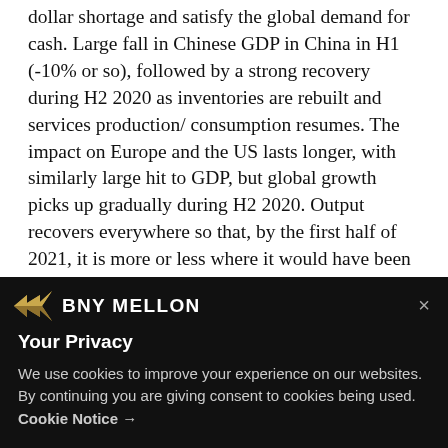dollar shortage and satisfy the global demand for cash. Large fall in Chinese GDP in China in H1 (-10% or so), followed by a strong recovery during H2 2020 as inventories are rebuilt and services production/consumption resumes. The impact on Europe and the US lasts longer, with similarly large hit to GDP, but global growth picks up gradually during H2 2020. Output recovers everywhere so that, by the first half of 2021, it is more or less where it would have been had the disease never emerged, so there is no permanent loss to output (hence the V-shape recovery). Global monetary and fiscal policy remains loose. Other central
[Figure (logo): BNY Mellon logo with golden arrow/wing icon and white text on black background]
Your Privacy
We use cookies to improve your experience on our websites. By continuing you are giving consent to cookies being used. Cookie Notice →